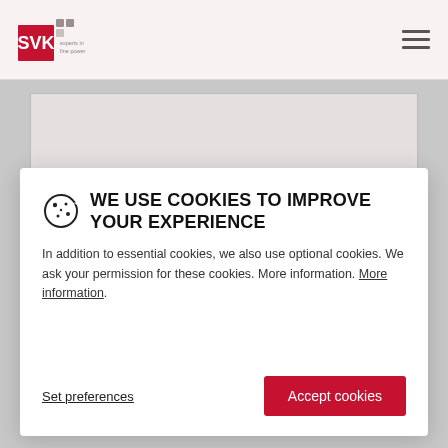SVK - experts in fine power
[Figure (screenshot): SVK website with cookie consent modal overlay. Header shows SVK logo (red square with white text and grey dots) and hamburger menu. Background shows grey content area. Modal popup contains cookie notice with title 'WE USE COOKIES TO IMPROVE YOUR EXPERIENCE', body text about optional cookies, and two buttons: 'Set preferences' and 'Accept cookies'.]
WE USE COOKIES TO IMPROVE YOUR EXPERIENCE
In addition to essential cookies, we also use optional cookies. We ask your permission for these cookies. More information. More information.
Set preferences
Accept cookies